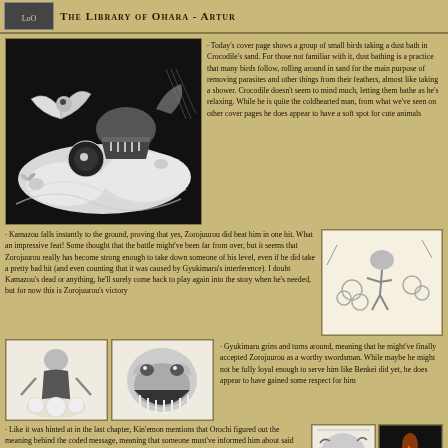The Library of Ohara - Artur
[Figure (illustration): Manga cover page illustration showing Crocodile relaxing with small birds dust bathing in his sand, swirling sandy clouds around him]
· Today's cover page shows a group of small birds taking a dust bath in Crocodile's sand. For those not familiar with it, dust bathing is a practice that many birds follow, rolling around in sand for the main purpose of removing parasites and other things from their feathers, almost like taking a shower. Crocodile doesn't seem to mind much, letting them bathe as he's relaxing. While he is quite the coldhearted man, from what we've seen on other cover pages he does appear to have a soft spot for cute animals
· Kamazou falls instantly to the ground, proving that yes, Zorojuurou did beat him in one hit. What an impressive feat! Some thought that the battle might've been far from over, but it seems that Zorojuurou really has become strong enough to take down someone of his level, even if he did take a pretty bad hit (and even counting that it was caused by Gyukimaru's interference). I doubt Kamazou's dead or anything, he'll surely come back to play again into the story when he's needed, but for now this is Zorojuurou's victory
[Figure (illustration): Manga panel showing Kamazou falling to the ground with impact clouds]
[Figure (illustration): Manga panel showing a cloaked swordsman figure with impact clouds at ground level]
[Figure (illustration): Manga panel showing Gyukimaru grinning widely with large teeth]
· Gyukimaru grins and turns around, meaning that he might've finally accepted Zorojuurou as a worthy swordsman. While maybe he might not be fully loyal enough to serve him like Benkei did yet, he does appear to have gained some respect for him
· Like it was hinted at in the last chapter, Kin'emon mentions that Orochi figured out the meaning behind the coded message, meaning that someone must've informed him about said connection. I suspected last time that this might have to do with the same traitor that told Jack Raizou was on Zou, so
[Figure (illustration): Manga panel showing an angry face with intense expression]
[Figure (illustration): Manga panel showing a dark scene with fire/torch light illuminating a figure]